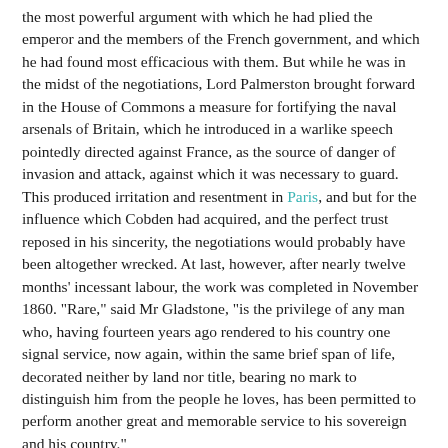the most powerful argument with which he had plied the emperor and the members of the French government, and which he had found most efficacious with them. But while he was in the midst of the negotiations, Lord Palmerston brought forward in the House of Commons a measure for fortifying the naval arsenals of Britain, which he introduced in a warlike speech pointedly directed against France, as the source of danger of invasion and attack, against which it was necessary to guard. This produced irritation and resentment in Paris, and but for the influence which Cobden had acquired, and the perfect trust reposed in his sincerity, the negotiations would probably have been altogether wrecked. At last, however, after nearly twelve months' incessant labour, the work was completed in November 1860. "Rare," said Mr Gladstone, "is the privilege of any man who, having fourteen years ago rendered to his country one signal service, now again, within the same brief span of life, decorated neither by land nor title, bearing no mark to distinguish him from the people he loves, has been permitted to perform another great and memorable service to his sovereign and his country."
On the conclusion of this work honours were offered to Cobden by the governments of both the countries which he had so greatly benefited. Lord Palmerston offered him a baronetcy and a seat in the privy council, and the emperor of the French would gladly have conferred upon him some distinguished mark of his favour. But with characteristic disinterestedness and modesty he declined